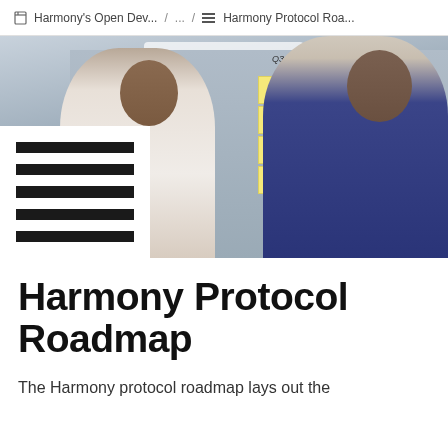Harmony's Open Dev... / ... / Harmony Protocol Roa...
[Figure (photo): Two people standing in front of a glass board covered with sticky notes organized in columns labeled Q1, Q3, Q4. One person is pointing at the board while the other holds a sticky note. A large hamburger/menu icon graphic is overlaid in the bottom-left corner of the image.]
Harmony Protocol Roadmap
The Harmony protocol roadmap lays out the